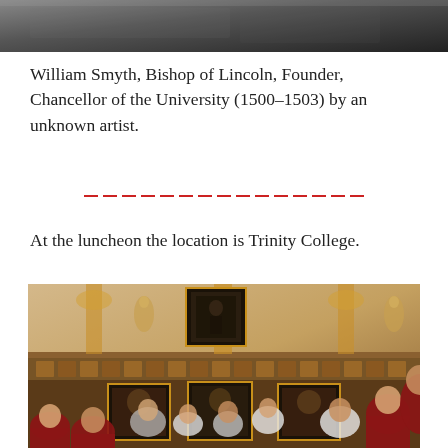[Figure (photo): Top portion of a photograph showing what appears to be a dark interior, likely the bottom edge of a portrait or building interior image.]
William Smyth, Bishop of Lincoln, Founder, Chancellor of the University (1500–1503) by an unknown artist.
At the luncheon the location is Trinity College.
[Figure (photo): A photograph of a formal luncheon at Trinity College, showing people in red academic gowns seated and standing in an ornate hall with portraits on the wood-panelled walls and decorative architectural features.]